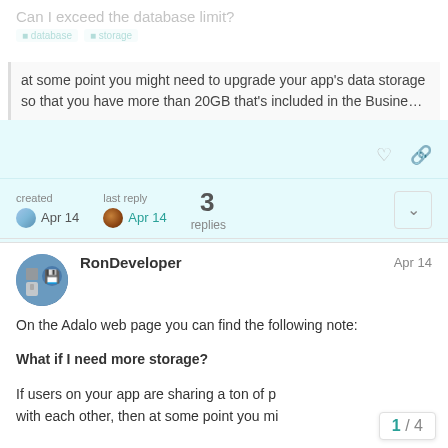Can I exceed the database limit?
at some point you might need to upgrade your app's data storage so that you have more than 20GB that's included in the Busine…
created Apr 14   last reply Apr 14   3 replies
RonDeveloper   Apr 14
On the Adalo web page you can find the following note:
What if I need more storage?
If users on your app are sharing a ton of p with each other, then at some point you mi
1 / 4